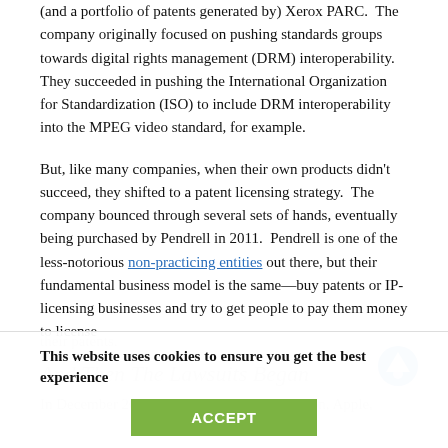(and a portfolio of patents generated by) Xerox PARC. The company originally focused on pushing standards groups towards digital rights management (DRM) interoperability. They succeeded in pushing the International Organization for Standardization (ISO) to include DRM interoperability into the MPEG video standard, for example.
But, like many companies, when their own products didn't succeed, they shifted to a patent licensing strategy. The company bounced through several sets of hands, eventually being purchased by Pendrell in 2011. Pendrell is one of the less-notorious non-practicing entities out there, but their fundamental business model is the same—buy patents or IP-licensing businesses and try to get people to pay them money to license their patents.
This website uses cookies to ensure you get the best experience
And Then The Lawsuits Began
In December 2013, Contentguard sued Amazon, Apple,